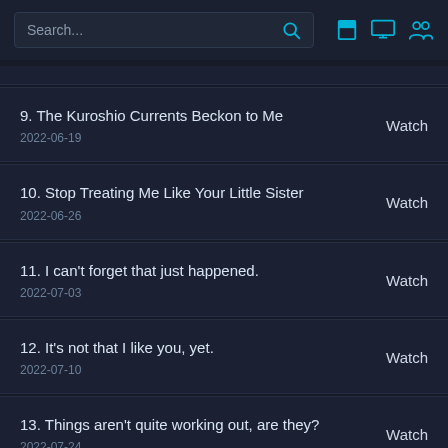Search...
9. The Kuroshio Currents Beckon to Me
2022-06-19
Watch
10. Stop Treating Me Like Your Little Sister
2022-06-26
Watch
11. I can't forget that just happened.
2022-07-03
Watch
12. It's not that I like you, yet.
2022-07-10
Watch
13. Things aren't quite working out, are they?
2022-07-24
Watch